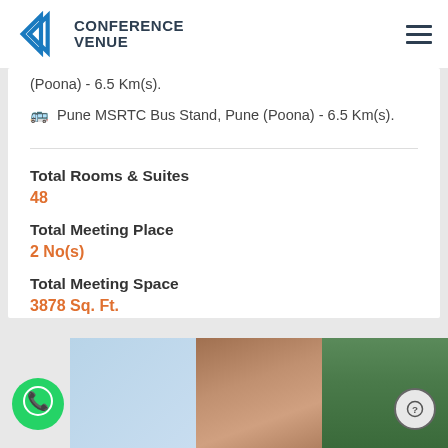CONFERENCE VENUE
(Poona) - 6.5 Km(s).
Pune MSRTC Bus Stand, Pune (Poona) - 6.5 Km(s).
Total Rooms & Suites
48
Total Meeting Place
2 No(s)
Total Meeting Space
3878 Sq. Ft.
[Figure (photo): Hotel building exterior with trees]